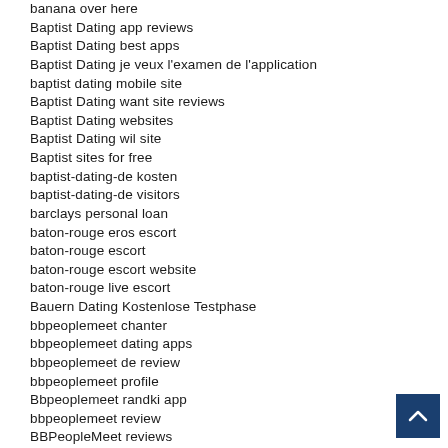banana over here
Baptist Dating app reviews
Baptist Dating best apps
Baptist Dating je veux l'examen de l'application
baptist dating mobile site
Baptist Dating want site reviews
Baptist Dating websites
Baptist Dating wil site
Baptist sites for free
baptist-dating-de kosten
baptist-dating-de visitors
barclays personal loan
baton-rouge eros escort
baton-rouge escort
baton-rouge escort website
baton-rouge live escort
Bauern Dating Kostenlose Testphase
bbpeoplemeet chanter
bbpeoplemeet dating apps
bbpeoplemeet de review
bbpeoplemeet profile
Bbpeoplemeet randki app
bbpeoplemeet review
BBPeopleMeet reviews